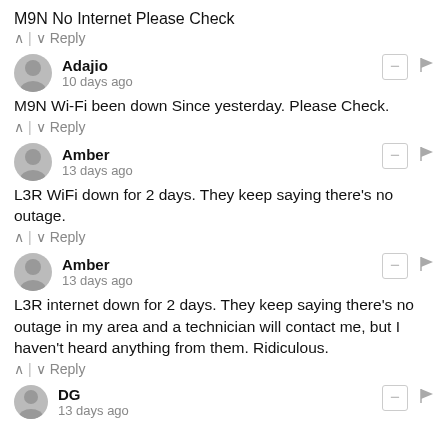M9N No Internet Please Check
^ | v  Reply
Adajio
10 days ago
M9N Wi-Fi been down Since yesterday. Please Check.
^ | v  Reply
Amber
13 days ago
L3R WiFi down for 2 days. They keep saying there's no outage.
^ | v  Reply
Amber
13 days ago
L3R internet down for 2 days. They keep saying there's no outage in my area and a technician will contact me, but I haven't heard anything from them. Ridiculous.
^ | v  Reply
DG
13 days ago